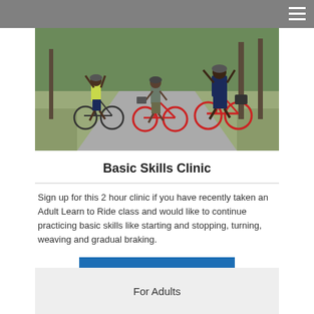[Figure (photo): Three adults on bicycles in a park, arms raised, smiling. They are on a paved path surrounded by grass and trees.]
Basic Skills Clinic
Sign up for this 2 hour clinic if you have recently taken an Adult Learn to Ride class and would like to continue practicing basic skills like starting and stopping, turning, weaving and gradual braking.
FIND A CLINIC
For Adults